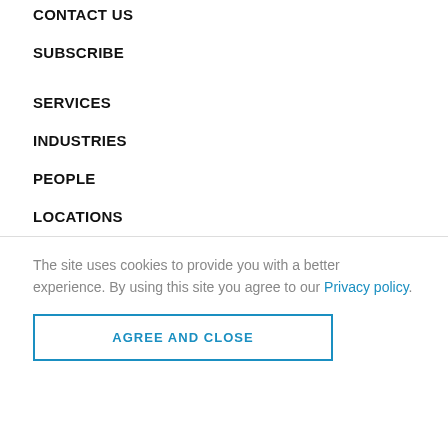CONTACT US
SUBSCRIBE
SERVICES
INDUSTRIES
PEOPLE
LOCATIONS
The site uses cookies to provide you with a better experience. By using this site you agree to our Privacy policy.
AGREE AND CLOSE